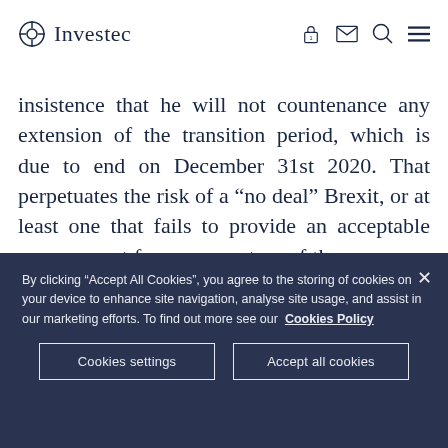Investec
insistence that he will not countenance any extension of the transition period, which is due to end on December 31st 2020. That perpetuates the risk of a “no deal” Brexit, or at least one that fails to provide an acceptable arrangement for many sectors of the economy. That risk has been recognised in renewed weakness for sterling.
By clicking “Accept All Cookies”, you agree to the storing of cookies on your device to enhance site navigation, analyse site usage, and assist in our marketing efforts. To find out more see our Cookies Policy
Cookies settings
Accept all cookies